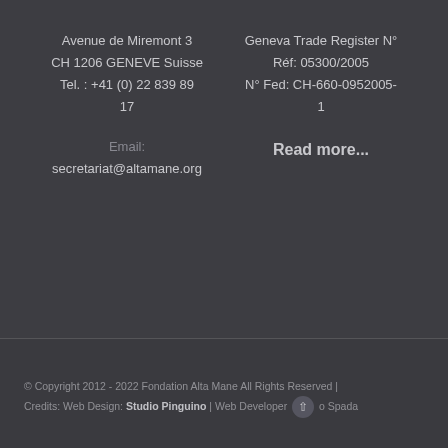Avenue de Miremont 3
CH 1206 GENEVE Suisse
Tel. : +41 (0) 22 839 89 17
Geneva Trade Register N°
Réf: 05300/2005
N° Fed: CH-660-0952005-1
Email:
secretariat@altamane.org
Read more...
© Copyright 2012 - 2022 Fondation Alta Mane All Rights Reserved | Credits: Web Design: Studio Pinguino | Web Developer: io Spada